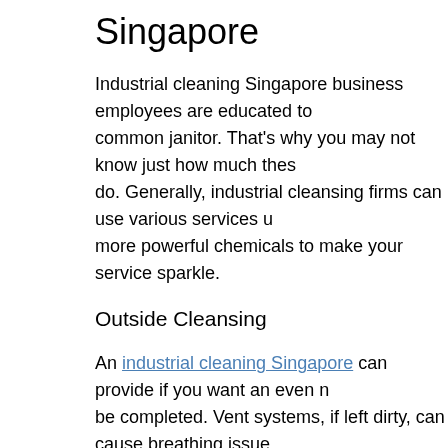Singapore
Industrial cleaning Singapore business employees are educated to common janitor. That's why you may not know just how much these do. Generally, industrial cleansing firms can use various services u more powerful chemicals to make your service sparkle.
Outside Cleansing
An industrial cleaning Singapore can provide if you want an even n be completed. Vent systems, if left dirty, can cause breathing issue building. Not just can cleaning services tidy these air flow systems various other deep cleansing demands such as heavy grease stai
If you have any type of hazardous products such as mold and milo commercial cleaning service can help you clean this up. Mold and making use of strong chemicals that might be hard for you to get b by yourself due to the fact that even if you scrub away all noticeab back. Physical liquids such as blood require a person that is speci leaving it to the professionals is always your best option. Blood ca